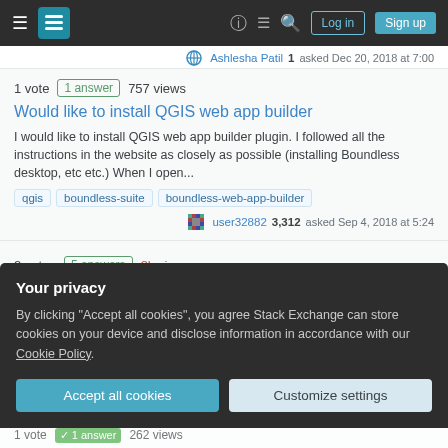Stack Exchange navigation bar with Log in and Sign up buttons
Ashlesha Patil 1 asked Dec 20, 2018 at 7:00
1 vote 1 answer 757 views
Would like to install QGIS web app builder
I would like to install QGIS web app builder plugin. I followed all the instructions in the website as closely as possible (installing Boundless desktop, etc etc.) When I open...
qgis
boundless-suite
boundless-web-app-builder
user32882 3,312 asked Sep 4, 2018 at 5:24
8 votes 5 answers 8k views
Your privacy
By clicking "Accept all cookies", you agree Stack Exchange can store cookies on your device and disclose information in accordance with our Cookie Policy.
Accept all cookies  Customize settings
1 vote 1 answer 262 views